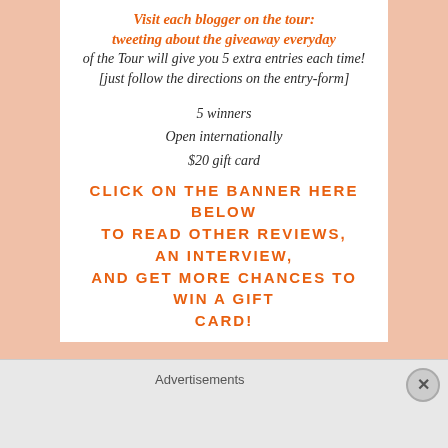Visit each blogger on the tour: tweeting about the giveaway everyday of the Tour will give you 5 extra entries each time! [just follow the directions on the entry-form]
5 winners
Open internationally
$20 gift card
CLICK ON THE BANNER HERE BELOW TO READ OTHER REVIEWS, AN INTERVIEW, AND GET MORE CHANCES TO WIN A GIFT CARD!
Advertisements